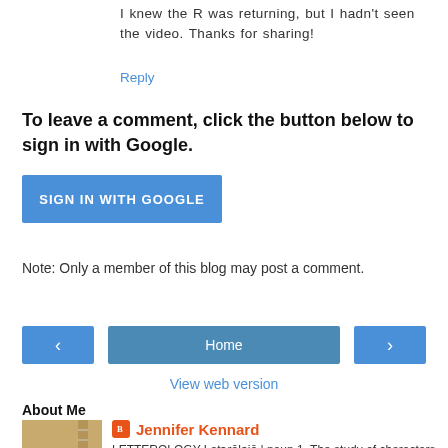I knew the R was returning, but I hadn't seen the video. Thanks for sharing!
Reply
To leave a comment, click the button below to sign in with Google.
[Figure (other): SIGN IN WITH GOOGLE button (blue rectangle)]
Note: Only a member of this blog may post a comment.
[Figure (other): Navigation buttons: left arrow, Home, right arrow]
View web version
About Me
[Figure (photo): Thumbnail photo of craft/letterology item]
Jennifer Kennard
LETTEROLOGY Letərāləjē | noun 1. The study of characters and symbols of an alphabet representing